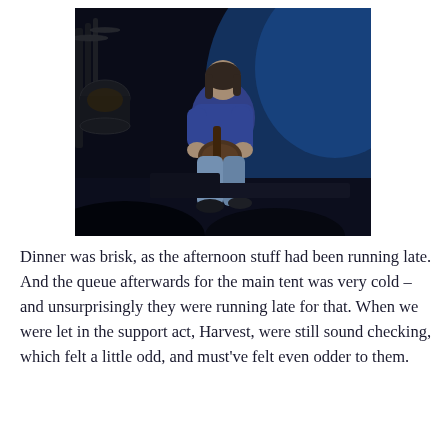[Figure (photo): A musician on stage playing guitar, wearing a blue hoodie and light jeans, crouching or kneeling on the edge of the stage. Drum kit visible in the background left, blue stage lighting in the background.]
Dinner was brisk, as the afternoon stuff had been running late. And the queue afterwards for the main tent was very cold – and unsurprisingly they were running late for that. When we were let in the support act, Harvest, were still sound checking, which felt a little odd, and must've felt even odder to them.